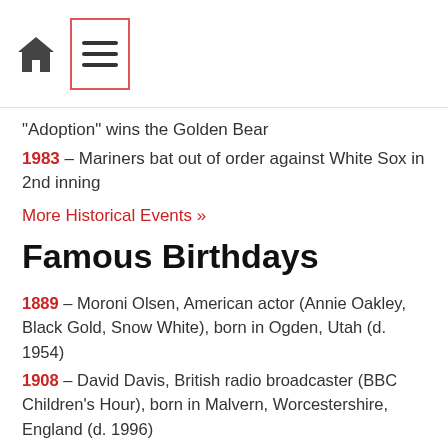[Figure (screenshot): Navigation bar with home icon and hamburger menu icon with red border]
“Adoption” wins the Golden Bear
1983 – Mariners bat out of order against White Sox in 2nd inning
More Historical Events »
Famous Birthdays
1889 – Moroni Olsen, American actor (Annie Oakley, Black Gold, Snow White), born in Ogden, Utah (d. 1954)
1908 – David Davis, British radio broadcaster (BBC Children’s Hour), born in Malvern, Worcestershire, England (d. 1996)
1912 – Audrey Christie, American actress